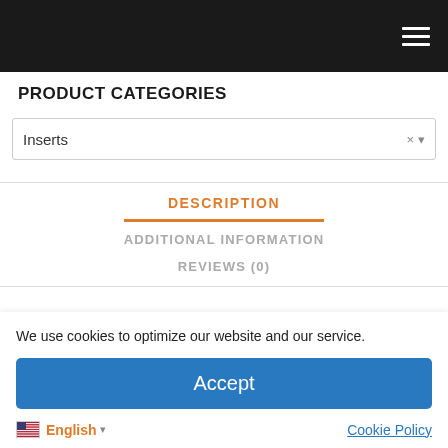PRODUCT CATEGORIES
Inserts
DESCRIPTION
ADDITIONAL INFORMATION
REVIEWS (0)
We use cookies to optimize our website and our service.
Accept
English ▾  Cookie Policy